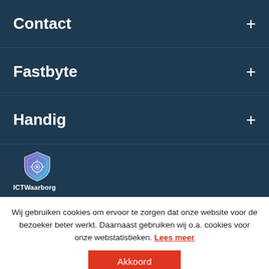Contact +
Fastbyte +
Handig +
[Figure (logo): ICTWaarborg shield logo with purple/blue colors and a snail/spiral design]
Wij gebruiken cookies om ervoor te zorgen dat onze website voor de bezoeker beter werkt. Daarnaast gebruiken wij o.a. cookies voor onze webstatistieken. Lees meer
Akkoord